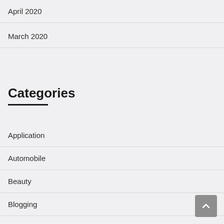April 2020
March 2020
Categories
Application
Automobile
Beauty
Blogging